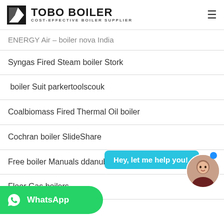TOBO BOILER — COST-EFFECTIVE BOILER SUPPLIER
ENERGY Air – boiler nova India
Syngas Fired Steam boiler Stork
boiler Suit parkertoolscouk
Coalbiomass Fired Thermal Oil boiler
Cochran boiler SlideShare
Free boiler Manuals ddanubehomecom
Floor Gas boilers ...
... California boiler
Reduze boiler or badgeiser
Vintage Copper boiler EBTH